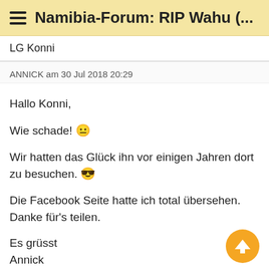Namibia-Forum: RIP Wahu (...
LG Konni
ANNICK am 30 Jul 2018 20:29
Hallo Konni,
Wie schade! 😐
Wir hatten das Glück ihn vor einigen Jahren dort zu besuchen. 😎
Die Facebook Seite hatte ich total übersehen. Danke für's teilen.
Es grüsst
Annick